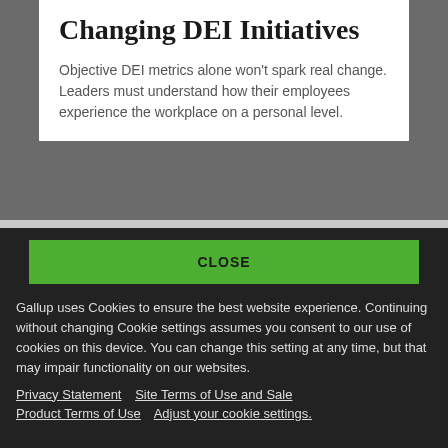Changing DEI Initiatives
Objective DEI metrics alone won't spark real change. Leaders must understand how their employees experience the workplace on a personal level.
CLOSE
Gallup uses Cookies to ensure the best website experience. Continuing without changing Cookie settings assumes you consent to our use of cookies on this device. You can change this setting at any time, but that may impair functionality on our websites.
Privacy Statement   Site Terms of Use and Sale
Product Terms of Use   Adjust your cookie settings.